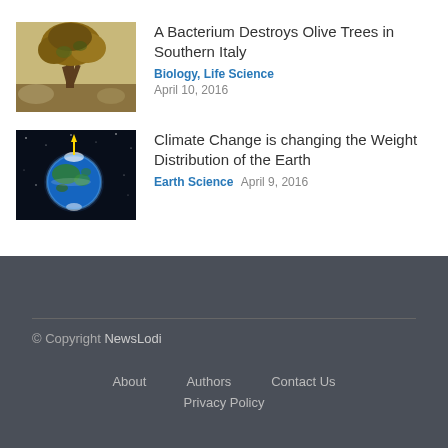[Figure (photo): A brown and dried-out olive tree in a landscape with rocks, showing disease damage.]
A Bacterium Destroys Olive Trees in Southern Italy
Biology, Life Science  April 10, 2016
[Figure (photo): A CGI rendering of Earth from space on a dark background, with a yellow spike on top.]
Climate Change is changing the Weight Distribution of the Earth
Earth Science  April 9, 2016
© Copyright NewsLodi  About  Authors  Contact Us  Privacy Policy